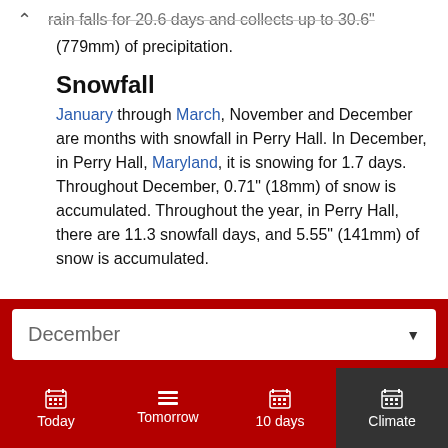...rain falls for 20.6 days and collects up to 30.6" (779mm) of precipitation.
Snowfall
January through March, November and December are months with snowfall in Perry Hall. In December, in Perry Hall, Maryland, it is snowing for 1.7 days. Throughout December, 0.71" (18mm) of snow is accumulated. Throughout the year, in Perry Hall, there are 11.3 snowfall days, and 5.55" (141mm) of snow is accumulated.
December
Today  Tomorrow  10 days  Climate